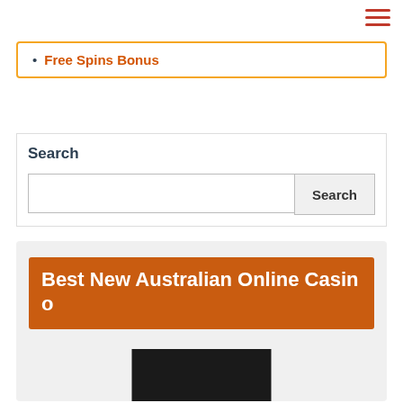≡
Free Spins Bonus
Search
[Figure (other): Search input box with Search button]
Best New Australian Online Casino
[Figure (photo): Black image placeholder at bottom of article card]